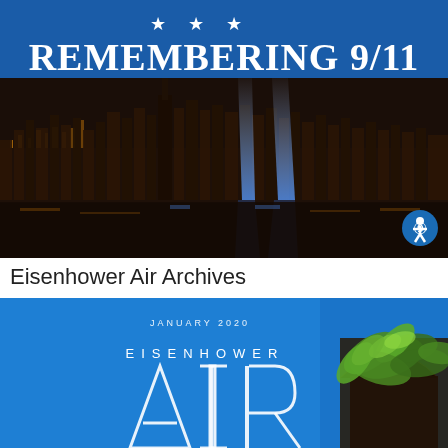[Figure (illustration): Banner image with blue header containing three white stars and text 'REMEMBERING 9/11' in large white serif font, below which is a nighttime photo of the NYC skyline showing the Tribute in Light twin beams of light rising from lower Manhattan, viewed from across the water.]
Eisenhower Air Archives
[Figure (illustration): Cover image for 'Eisenhower AIR' newsletter/publication, January 2020. Blue background with the text 'JANUARY 2020' at top, 'EISENHOWER' in spaced letters, and large 'AIR' letters in an outlined/thin font. To the right is a partial photo of a building with tropical foliage/palm fronds.]